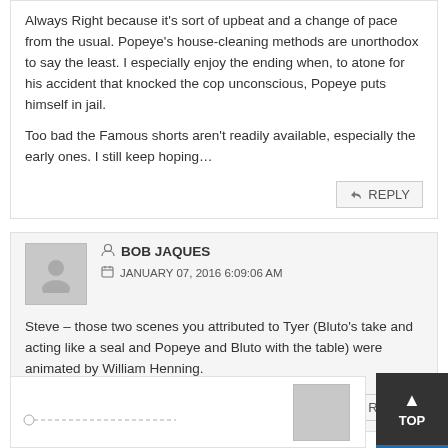Always Right because it's sort of upbeat and a change of pace from the usual. Popeye's house-cleaning methods are unorthodox to say the least. I especially enjoy the ending when, to atone for his accident that knocked the cop unconscious, Popeye puts himself in jail.
Too bad the Famous shorts aren't readily available, especially the early ones. I still keep hoping…
BOB JAQUES
JANUARY 07, 2016 6:09:06 AM
Steve – those two scenes you attributed to Tyer (Bluto's take and acting like a seal and Popeye and Bluto with the table) were animated by William Henning.